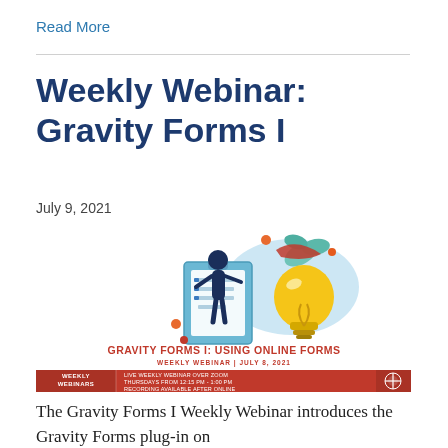Read More
Weekly Webinar: Gravity Forms I
July 9, 2021
[Figure (illustration): Promotional banner for 'Gravity Forms I: Using Online Forms' weekly webinar. Shows a illustrated person with a clipboard and a lightbulb, with text 'GRAVITY FORMS I: USING ONLINE FORMS', 'WEEKLY WEBINAR | JULY 8, 2021', and a red banner reading 'WEEKLY WEBINARS' with details 'LIVE WEEKLY WEBINAR OVER ZOOM THURSDAYS FROM 12:15 PM - 1:00 PM RECORDING AVAILABLE AFTER ONLINE' and an institutional logo.]
The Gravity Forms I Weekly Webinar introduces the Gravity Forms plug-in on